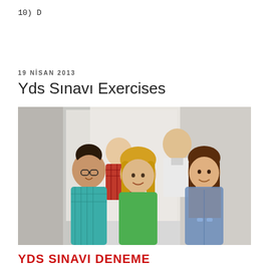10) D
19 NİSAN 2013
Yds Sınavı Exercises
[Figure (photo): Group of five smiling young students (diverse, mixed gender) posing together indoors in a bright room. A blonde girl in green is in the center front, flanked by a girl in a teal plaid shirt with glasses on the left and a girl in a denim jacket on the right. Two young men are visible behind them.]
YDS SINAVI DENEME